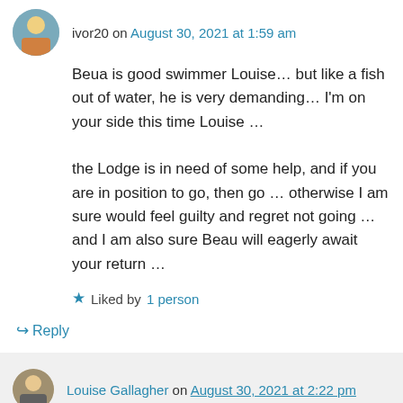ivor20 on August 30, 2021 at 1:59 am
Beua is good swimmer Louise… but like a fish out of water, he is very demanding… I'm on your side this time Louise …
the Lodge is in need of some help, and if you are in position to go, then go … otherwise I am sure would feel guilty and regret not going … and I am also sure Beau will eagerly await your return …
Liked by 1 person
↳ Reply
Louise Gallagher on August 30, 2021 at 2:22 pm